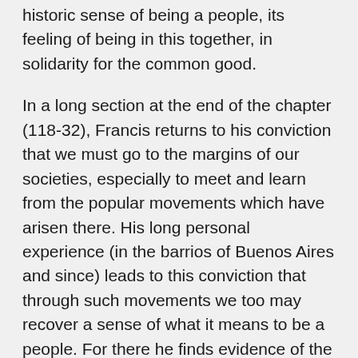historic sense of being a people, its feeling of being in this together, in solidarity for the common good.
In a long section at the end of the chapter (118-32), Francis returns to his conviction that we must go to the margins of our societies, especially to meet and learn from the popular movements which have arisen there. His long personal experience (in the barrios of Buenos Aires and since) leads to this conviction that through such movements we too may recover a sense of what it means to be a people. For there he finds evidence of the recovery and emergence of “peoples” rising against the more dominant forces of liberal democracy and nationalist populisms. Earlier in the book (25) he had even made specific reference to the world-wide response to the murder of George Floyd, a response exemplifying the popular movements in which he puts such hope.